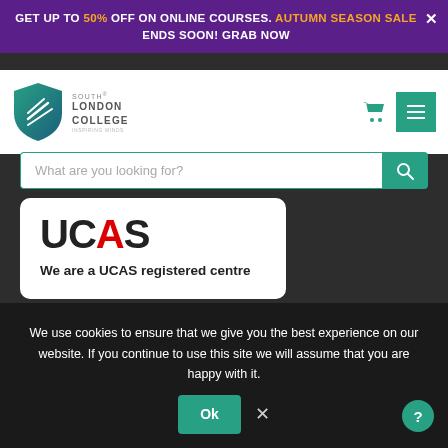GET UP TO 50% OFF ON ONLINE COURSES. AUTUMN SEASON SALE ENDS SOON! GRAB NOW
[Figure (logo): South London College logo with shield and text]
What are you looking for?
[Figure (logo): UCAS registered centre card with UCAS logo and text 'We are a UCAS registered centre']
TOP CATEGORIES
Accounting & Fi...
We use cookies to ensure that we give you the best experience on our website. If you continue to use this site we will assume that you are happy with it.